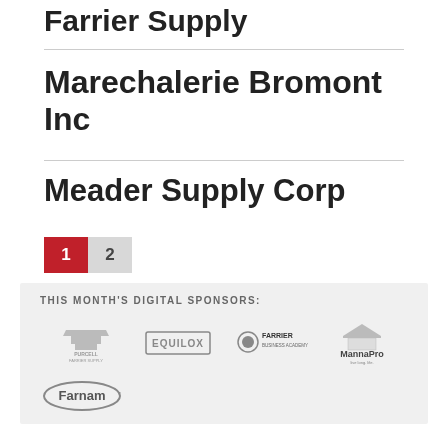Farrier Supply
Marechalerie Bromont Inc
Meader Supply Corp
1  2
THIS MONTH'S DIGITAL SPONSORS:
[Figure (logo): Sponsor logos: Purcell Farrier Supply, Equilox, Farrier Business Academy, MannaPro, Farnam]